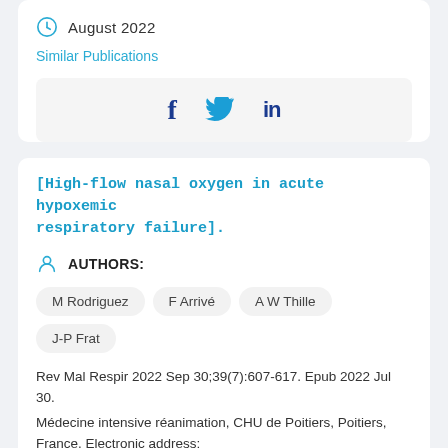August 2022
Similar Publications
[Figure (other): Social media sharing icons: Facebook (f), Twitter (bird), LinkedIn (in)]
[High-flow nasal oxygen in acute hypoxemic respiratory failure].
AUTHORS:
M Rodriguez
F Arrivé
A W Thille
J-P Frat
Rev Mal Respir 2022 Sep 30;39(7):607-617. Epub 2022 Jul 30.
Médecine intensive réanimation, CHU de Poitiers, Poitiers, France. Electronic address: